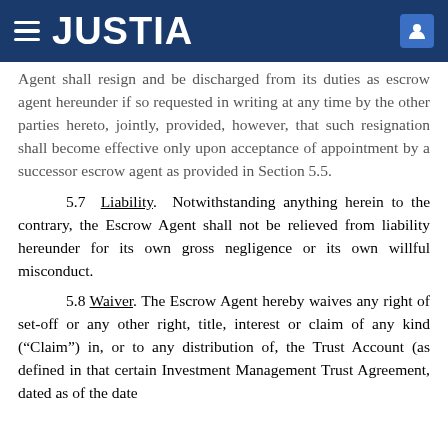JUSTIA
Agent shall resign and be discharged from its duties as escrow agent hereunder if so requested in writing at any time by the other parties hereto, jointly, provided, however, that such resignation shall become effective only upon acceptance of appointment by a successor escrow agent as provided in Section 5.5.
5.7 Liability. Notwithstanding anything herein to the contrary, the Escrow Agent shall not be relieved from liability hereunder for its own gross negligence or its own willful misconduct.
5.8 Waiver. The Escrow Agent hereby waives any right of set-off or any other right, title, interest or claim of any kind (“Claim”) in, or to any distribution of, the Trust Account (as defined in that certain Investment Management Trust Agreement, dated as of the date